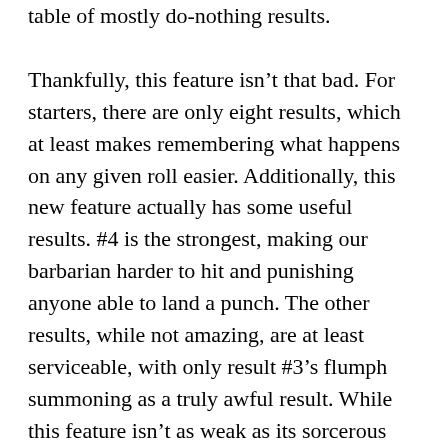table of mostly do-nothing results.
Thankfully, this feature isn't that bad. For starters, there are only eight results, which at least makes remembering what happens on any given roll easier. Additionally, this new feature actually has some useful results. #4 is the strongest, making our barbarian harder to hit and punishing anyone able to land a punch. The other results, while not amazing, are at least serviceable, with only result #3's flumph summoning as a truly awful result. While this feature isn't as weak as its sorcerous counterpart, it suffers from a similar issue: it's impossible to plan around random results. Many of these abilities work best if we know they're coming, and that's simply